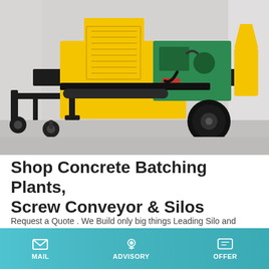[Figure (photo): Yellow mobile concrete batching pump truck on wheels, with green engine block visible, parked on a concrete floor inside a building. The machine is a trailer-mounted unit with a large yellow housing, black steel frame, and large rubber tires.]
Shop Concrete Batching Plants, Screw Conveyor & Silos
Request a Quote . We Build only big things Leading Silo and Batching Plant Manufacturer in India. Mobile Concrete Batching Plant. In the modern age construction activities, our batching plants fit in perfectly to provide a uniform mix of concrete ensuring smooth operations at project sites.
MAIL  ADVISORY  OFFER